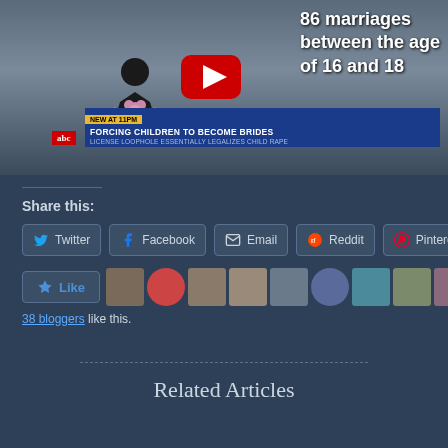[Figure (screenshot): YouTube video thumbnail showing a news broadcast about child marriage. Text reads '86 marriages between the age of 16 and 18'. News banner reads 'FORCING CHILDREN TO BECOME BRIDES - LICENSE LOOPHOLE ESSENTIALLY LEGALIZES CHILD RAPE'. ABC news logo visible. YouTube play button overlay.]
Share this:
Twitter  Facebook  Email  Reddit  Pinterest
Like
38 bloggers like this.
Related Articles